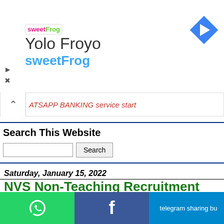[Figure (logo): sweetFrog Yolo Froyo advertisement banner with logo and navigation icon]
ATSAPP BANKING service start
Search This Website
Saturday, January 15, 2022
NVS Non-Teaching Recruitment 2022 |1925 Vacancies, Apply Online